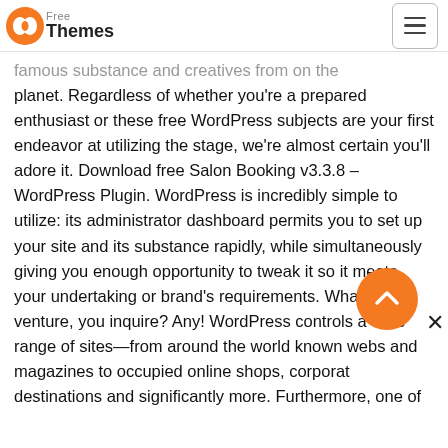Free Themes
famous substance and creatives from on the planet. Regardless of whether you're a prepared enthusiast or these free WordPress subjects are your first endeavor at utilizing the stage, we're almost certain you'll adore it. Download free Salon Booking v3.3.8 – WordPress Plugin. WordPress is incredibly simple to utilize: its administrator dashboard permits you to set up your site and its substance rapidly, while simultaneously giving you enough opportunity to tweak it so it meets your undertaking or brand's requirements. What sort of venture, you inquire? Any! WordPress controls a wide range of sites—from around the world known websites and magazines to occupied online shops, corporate destinations and significantly more. Furthermore, one of